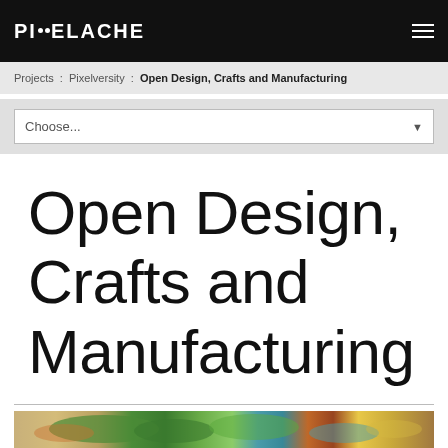PIXELACHE
Projects : Pixelversity : Open Design, Crafts and Manufacturing
Open Design, Crafts and Manufacturing
[Figure (photo): Close-up of colourful embroidered textile with green, teal, red and gold decorative patterns on a cream background]